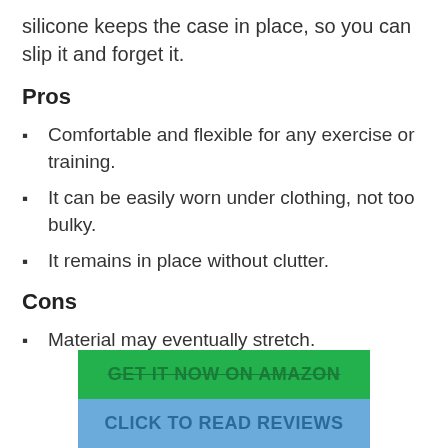silicone keeps the case in place, so you can slip it and forget it.
Pros
Comfortable and flexible for any exercise or training.
It can be easily worn under clothing, not too bulky.
It remains in place without clutter.
Cons
Material may eventually stretch.
[Figure (other): Two call-to-action buttons: green 'GET IT NOW ON AMAZON' and blue 'CLICK TO READ REVIEWS']